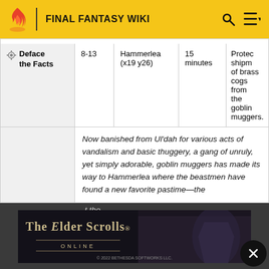FINAL FANTASY WIKI
| Quest | Level | Location | Duration | Description |
| --- | --- | --- | --- | --- |
| Deface the Facts | 8-13 | Hammerlea (x19 y26) | 15 minutes | Protect shipment of brass cogs from the goblin muggers. |
Now banished from Ul'dah for various acts of vandalism and basic thuggery, a gang of unruly, yet simply adorable, goblin muggers has made its way to Hammerlea where the beastmen have found a new favorite pastime—the ... t the ... ome
[Figure (screenshot): The Elder Scrolls Online advertisement banner by Bethesda Softworks LLC, 2022]
Spawn conditions:
Speak with the worried worker.